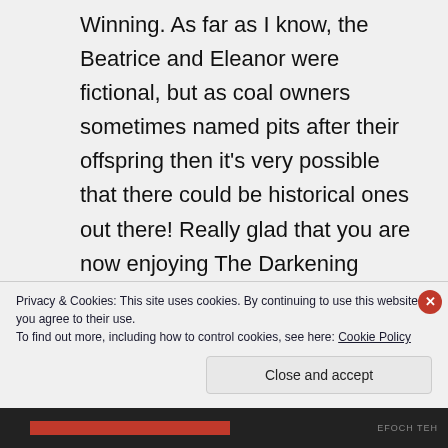Winning. As far as I know, the Beatrice and Eleanor were fictional, but as coal owners sometimes named pits after their offspring then it's very possible that there could be historical ones out there! Really glad that you are now enjoying The Darkening Skies – even if it is tempting you away from work! Just think of all that reading time you will have once you retire.
Privacy & Cookies: This site uses cookies. By continuing to use this website, you agree to their use. To find out more, including how to control cookies, see here: Cookie Policy